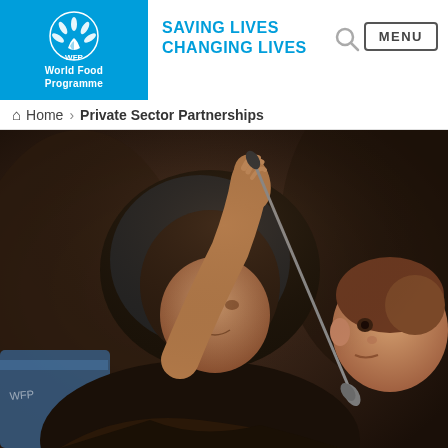[Figure (logo): WFP (World Food Programme) logo — white emblem on blue background with text 'WFP' and 'World Food Programme']
SAVING LIVES CHANGING LIVES
Search icon
MENU
Home > Private Sector Partnerships
[Figure (photo): A woman wearing a dark hijab feeding a young child with a spoon. The image is close-up and shows the woman holding the spoon toward the child's mouth. The background is dark and blurred.]